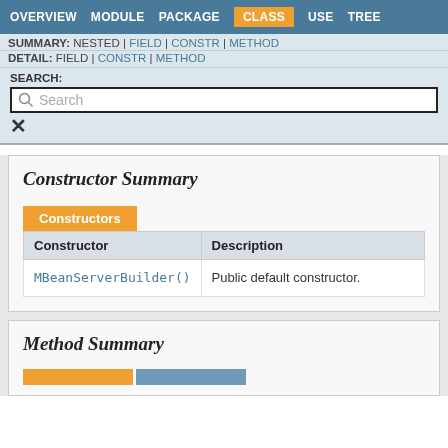OVERVIEW  MODULE  PACKAGE  CLASS  USE  TREE
SUMMARY: NESTED | FIELD | CONSTR | METHOD
DETAIL: FIELD | CONSTR | METHOD
SEARCH:
Constructor Summary
| Constructor | Description |
| --- | --- |
| MBeanServerBuilder() | Public default constructor. |
Method Summary